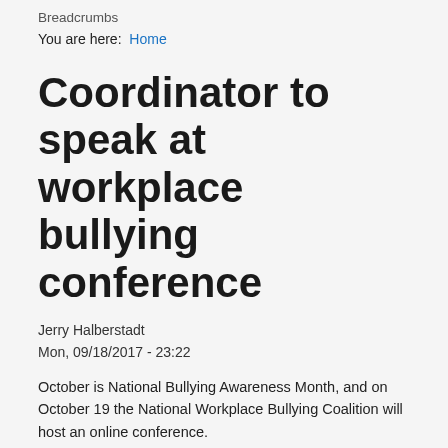Breadcrumbs
You are here: Home
Coordinator to speak at workplace bullying conference
Jerry Halberstadt
Mon, 09/18/2017 - 23:22
October is National Bullying Awareness Month, and on October 19 the National Workplace Bullying Coalition will host an online conference. http://www.workplacebullyingcoalition.org/ I have been invited to speak on the role of advocacy and legislation, and will give an update on the work of the Massachusetts Commission on Bullying and the impact of advocacy by